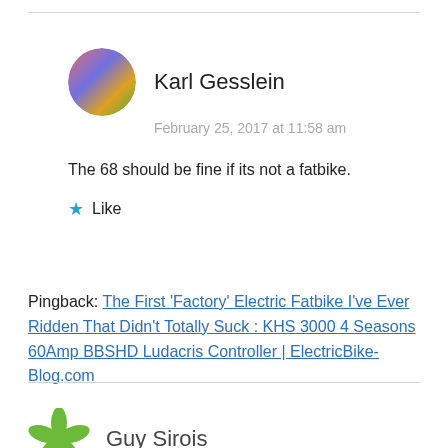[Figure (photo): Circular avatar photo of Karl Gesslein with colorful abstract image]
Karl Gesslein
February 25, 2017 at 11:58 am
The 68 should be fine if its not a fatbike.
★ Like
Pingback: The First 'Factory' Electric Fatbike I've Ever Ridden That Didn't Totally Suck : KHS 3000 4 Seasons 60Amp BBSHD Ludacris Controller | ElectricBike-Blog.com
[Figure (logo): Green leaf/flower icon avatar for Guy Sirois]
Guy Sirois
January 31, 2017 at 1:39 pm
I think that the whole problem of e-bike laws